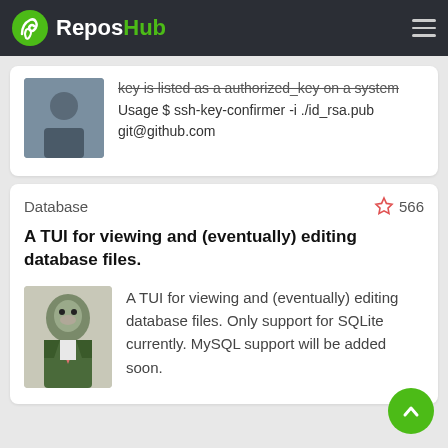ReposHub
key is listed as a authorized_key on a system Usage $ ssh-key-confirmer -i ./id_rsa.pub git@github.com
Database ☆ 566
A TUI for viewing and (eventually) editing database files.
A TUI for viewing and (eventually) editing database files. Only support for SQLite currently. MySQL support will be added soon.